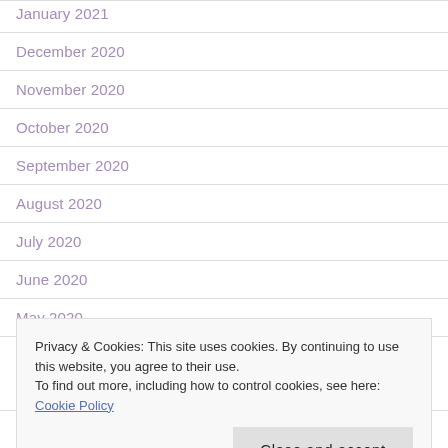January 2021
December 2020
November 2020
October 2020
September 2020
August 2020
July 2020
June 2020
May 2020
April 2020
Privacy & Cookies: This site uses cookies. By continuing to use this website, you agree to their use. To find out more, including how to control cookies, see here: Cookie Policy
December 2019